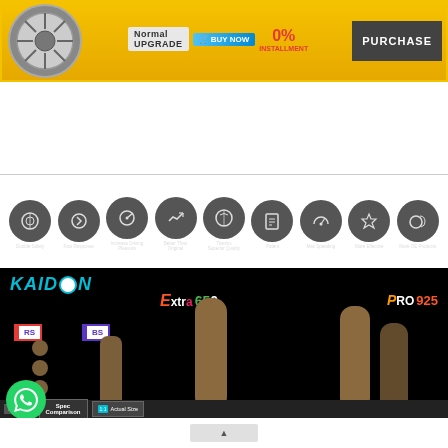[Figure (infographic): Kaidon brake product banner with yellow background, brake disc image, Normal Upgrade text, BUY NOW button, 0% INSTALLMENT offer, and PURCHASE button]
[Figure (infographic): Row of nine dark circular icons representing brake product features: Double Safety, Fast Response, Increase Driving Pleasure, Better Than Original, Titanics Superior Quality, Patent, Max Speeding, More Effective, More OE Products]
[Figure (infographic): Kaidon product comparison image on black background showing KAIDON logo, Extra 650 and Pro 925 product labels with brake pad size comparison columns, RS and BS badges, Spec Comparison and Actual Size buttons, WhatsApp button overlay]